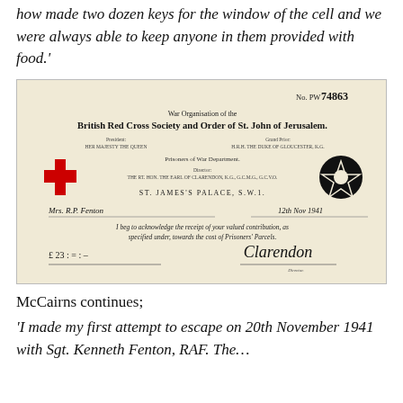how made two dozen keys for the window of the cell and we were always able to keep anyone in them provided with food.'
[Figure (photo): A receipt from the War Organisation of the British Red Cross Society and Order of St. John of Jerusalem, No. PW 74863, addressed to Mrs. R.P. Fenton, dated 12th Nov 1941, for £23, acknowledging receipt of a valued contribution towards the cost of Prisoners' Parcels, signed by Clarendon, Director.]
McCairns continues;
'I made my first attempt to escape on 20th November 1941 with Sgt. Kenneth Fenton, RAF. The…